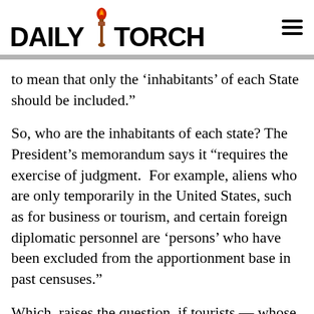DAILY TORCH
to mean that only the ‘inhabitants’ of each State should be included.”
So, who are the inhabitants of each state? The President’s memorandum says it “requires the exercise of judgment.  For example, aliens who are only temporarily in the United States, such as for business or tourism, and certain foreign diplomatic personnel are ‘persons’ who have been excluded from the apportionment base in past censuses.”
Which, raises the question, if tourists — whose